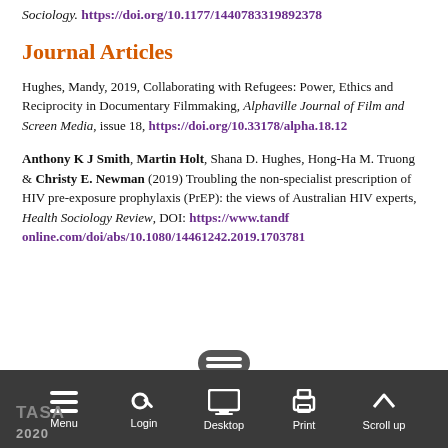Sociology. https://doi.org/10.1177/1440783319892378
Journal Articles
Hughes, Mandy, 2019, Collaborating with Refugees: Power, Ethics and Reciprocity in Documentary Filmmaking, Alphaville Journal of Film and Screen Media, issue 18, https://doi.org/10.33178/alpha.18.12
Anthony K J Smith, Martin Holt, Shana D. Hughes, Hong-Ha M. Truong & Christy E. Newman (2019) Troubling the non-specialist prescription of HIV pre-exposure prophylaxis (PrEP): the views of Australian HIV experts, Health Sociology Review, DOI: https://www.tandfonline.com/doi/abs/10.1080/14461242.2019.1703781
TASA 2020 | Menu | Login | Desktop | Print | Scroll up